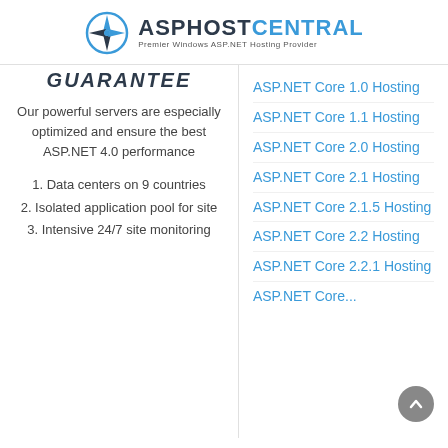ASPHOSTCENTRAL Premier Windows ASP.NET Hosting Provider
GUARANTEE
Our powerful servers are especially optimized and ensure the best ASP.NET 4.0 performance
1. Data centers on 9 countries
2. Isolated application pool for site
3. Intensive 24/7 site monitoring
ASP.NET Core 1.0 Hosting
ASP.NET Core 1.1 Hosting
ASP.NET Core 2.0 Hosting
ASP.NET Core 2.1 Hosting
ASP.NET Core 2.1.5 Hosting
ASP.NET Core 2.2 Hosting
ASP.NET Core 2.2.1 Hosting
ASP.NET Core...